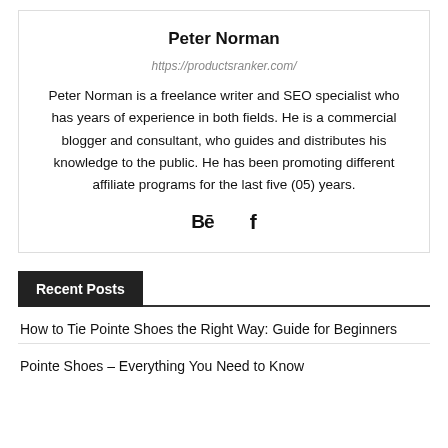Peter Norman
https://productsranker.com/
Peter Norman is a freelance writer and SEO specialist who has years of experience in both fields. He is a commercial blogger and consultant, who guides and distributes his knowledge to the public. He has been promoting different affiliate programs for the last five (05) years.
[Figure (infographic): Social media icons: Behance (Bē) and Facebook (f)]
Recent Posts
How to Tie Pointe Shoes the Right Way: Guide for Beginners
Pointe Shoes – Everything You Need to Know